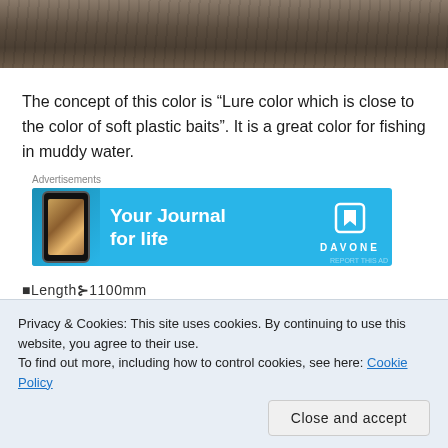[Figure (photo): Top portion of a photo showing a wooden surface (dark wood grain texture) with partial view of an object at top]
The concept of this color is “Lure color which is close to the color of soft plastic baits”. It is a great color for fishing in muddy water.
Advertisements
[Figure (screenshot): DayOne app advertisement banner with blue background showing a phone with photos and tagline 'Your Journal for life' with DAVONE logo]
■Length−1100mm
Privacy & Cookies: This site uses cookies. By continuing to use this website, you agree to their use.
To find out more, including how to control cookies, see here: Cookie Policy
Close and accept